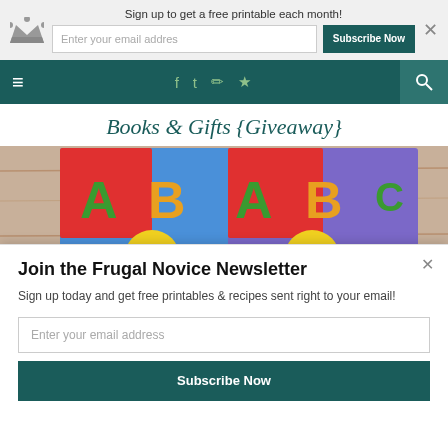Sign up to get a free printable each month!
[Figure (screenshot): Navigation bar with hamburger menu, social media icons (Facebook, Twitter, Instagram, RSS), and search icon on dark teal background]
Books & Gifts {Giveaway}
[Figure (photo): Photo of two ABC children's books on a wooden surface. Books titled 'What Colin Can Be!' and 'What Jackson Can Be!' with colorful A-B-C covers featuring cartoon characters.]
Join the Frugal Novice Newsletter
Sign up today and get free printables & recipes sent right to your email!
Enter your email address
Subscribe Now